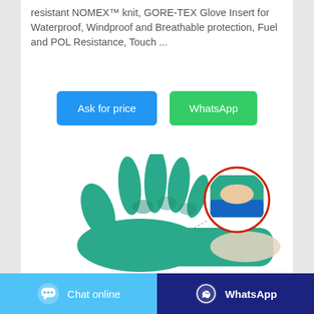resistant NOMEX™ knit, GORE-TEX Glove Insert for Waterproof, Windproof and Breathable protection, Fuel and POL Resistance, Touch ...
[Figure (other): Two buttons: 'Ask for price' (blue) and 'WhatsApp' (green)]
[Figure (photo): A teal/green nitrile glove with a circular inset showing close-up of glove cuff area]
[Figure (other): Bottom navigation bar with 'Chat online' button (light blue) and 'WhatsApp' button (dark blue)]